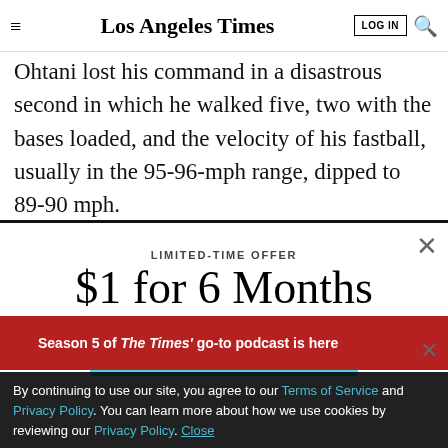Los Angeles Times
Ohtani lost his command in a disastrous second in which he walked five, two with the bases loaded, and the velocity of his fastball, usually in the 95-96-mph range, dipped to 89-90 mph.
LIMITED-TIME OFFER
$1 for 6 Months
SUBSCRIBE NOW
By continuing to use our site, you agree to our Terms of Service and Privacy Policy. You can learn more about how we use cookies by reviewing our Privacy Policy. Close